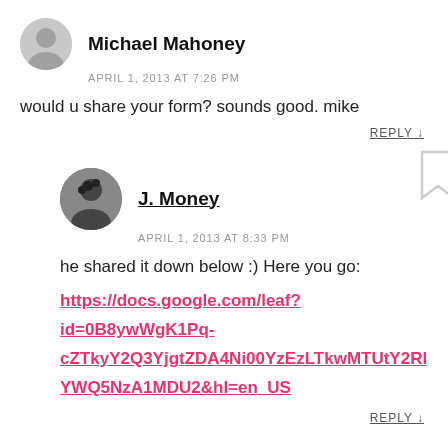Michael Mahoney
APRIL 1, 2013 AT 7:26 PM
would u share your form? sounds good. mike
REPLY ↓
J. Money
APRIL 1, 2013 AT 8:33 PM
he shared it down below :) Here you go:
https://docs.google.com/leaf?id=0B8ywWgK1Pq-cZTkyY2Q3YjgtZDA4Ni00YzEzLTkwMTUtY2RlYWQ5NzA1MDU2&hl=en_US
REPLY ↓